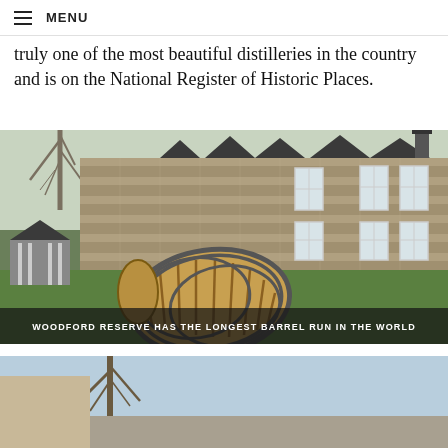MENU
truly one of the most beautiful distilleries in the country and is on the National Register of Historic Places.
[Figure (photo): Woodford Reserve distillery stone building with large wooden barrel in foreground on green lawn, bare trees visible. Caption overlay reads: WOODFORD RESERVE HAS THE LONGEST BARREL RUN IN THE WORLD]
[Figure (photo): Partial view of another outdoor photo, blue sky and bare tree branches visible at bottom of page.]